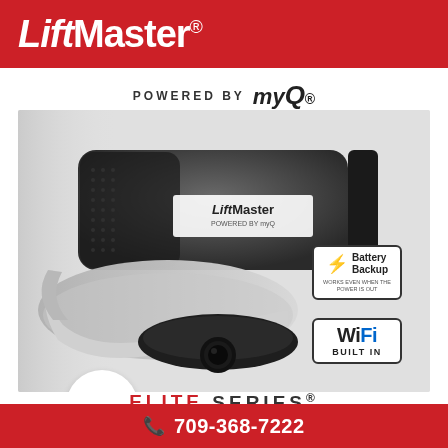[Figure (logo): LiftMaster logo in white text on red background]
POWERED BY myQ®
[Figure (photo): LiftMaster Elite Series garage door opener product photo on grey background, showing a dark grey/black unit with Battery Backup badge, WiFi Built In badge, and myQ bubble logo]
ELITE SERIES®
709-368-7222